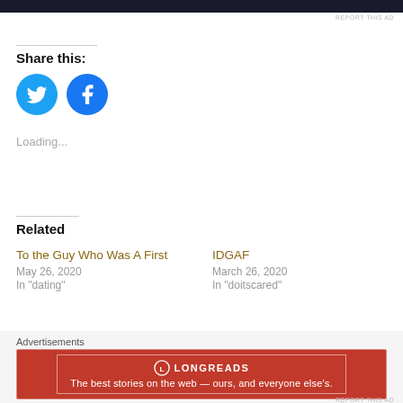[Figure (other): Dark navy/black advertisement banner at top of page]
REPORT THIS AD
Share this:
[Figure (other): Twitter circular blue icon button]
[Figure (other): Facebook circular blue icon button]
Loading...
Related
To the Guy Who Was A First
May 26, 2020
In "dating"
IDGAF
March 26, 2020
In "doitscared"
I thought 1/16/2019 Would
Advertisements
[Figure (other): Longreads red banner advertisement: The best stories on the web — ours, and everyone else's.]
REPORT THIS AD